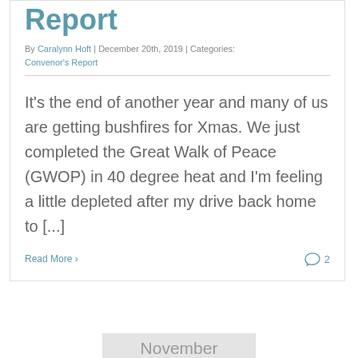Report
By Caralynn Hoft | December 20th, 2019 | Categories: Convenor's Report
It's the end of another year and many of us are getting bushfires for Xmas. We just completed the Great Walk of Peace (GWOP) in 40 degree heat and I'm feeling a little depleted after my drive back home to [...]
Read More > 2
November